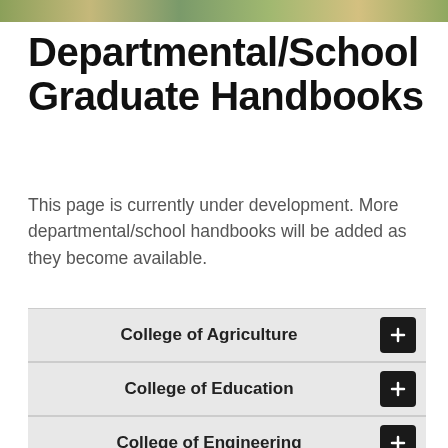[Figure (photo): Photo strip of campus/outdoor images at the top of the page]
Departmental/School Graduate Handbooks
This page is currently under development. More departmental/school handbooks will be added as they become available.
College of Agriculture
College of Education
College of Engineering
College of Health and Human Sciences